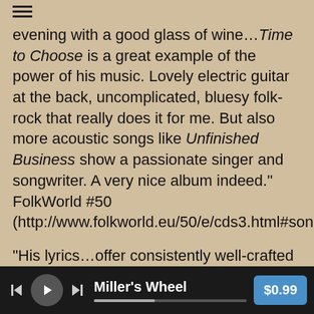"...Nelson Wright and his album...but convincingly perfect for a late evening with a good glass of wine...Time to Choose is a great example of the power of his music. Lovely electric guitar at the back, uncomplicated, bluesy folk-rock that really does it for me. But also more acoustic songs like Unfinished Business show a passionate singer and songwriter. A very nice album indeed." FolkWorld #50 (http://www.folkworld.eu/50/e/cds3.html#song)
"His lyrics...offer consistently well-crafted tales that have the touch of a lived life. I like the way Nelson's imagery moves...the images have the precision and grace to evoke emotions rather than stipulate them. Nelson has delivered a polished collection of believable tales about love, lost and found." Hank Davis, Victory Review (http://www.victorymusic.org)
"Nelson Wright displays a unique ability to spin tales in song...simple truths are delivered in a mix of arrangements simple and complex, but full of the simple beauty of pure heart. 4/5 stars" Wildly Haskell (http://wildeyeworld.blogspot.com)
Miller's Wheel  $0.99